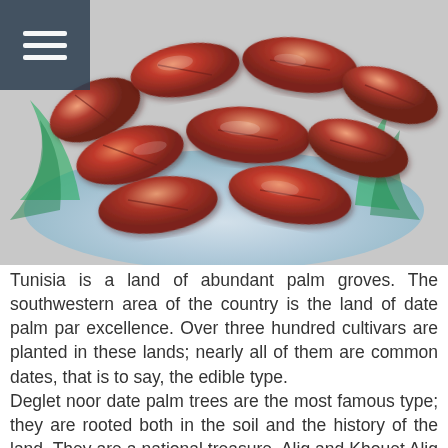[Figure (photo): A bowl of shiny reddish-brown dates (Tunisian date palm fruit) photographed from above, with a glass or ceramic bowl visible underneath. The dates are plump and glossy.]
Tunisia is a land of abundant palm groves. The southwestern area of the country is the land of date palm par excellence. Over three hundred cultivars are planted in these lands; nearly all of them are common dates, that is to say, the edible type.
Deglet noor date palm trees are the most famous type; they are rooted both in the soil and the history of the land. They are a national treasure. Alig and Khouet Alig come second in the ranking. These two varieties are widely